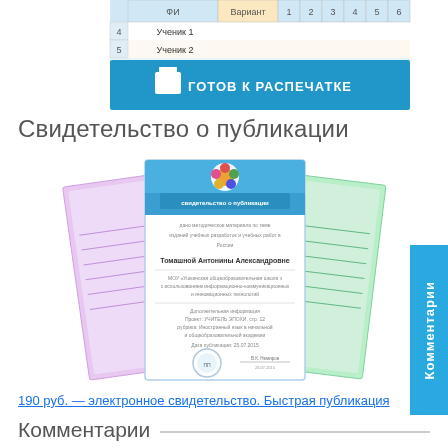[Figure (screenshot): Screenshot of a table/spreadsheet with rows for Ученик 1, Ученик 2 and a blue bar at bottom reading ГОТОВ К РАСПЕЧАТКЕ (ready to print) with a printer icon]
Свидетельство о публикации
[Figure (illustration): Three overlapping publication certificates in purple, white/blue, and green colors, showing a sample certificate issued to Томашной Антонины Александровны]
Комментарии
190 руб. — электронное свидетельство. Быстрая публикация
Комментарии